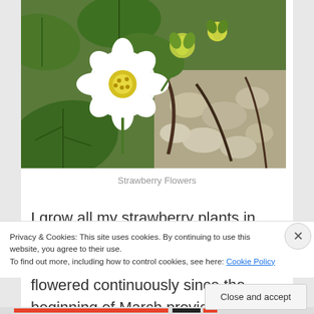[Figure (photo): Close-up photograph of strawberry flowers (white petals with yellow centers) and buds, surrounded by green leaves, with rocks and twigs visible in the background.]
Strawberry Flowers
I grow all my strawberry plants in various containers even plastic crates. These humble plants have flowered continuously since the beginning of March providing lots of delicious
Privacy & Cookies: This site uses cookies. By continuing to use this website, you agree to their use.
To find out more, including how to control cookies, see here: Cookie Policy
Close and accept